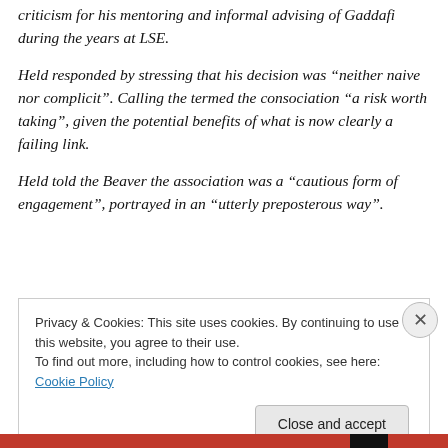criticism for his mentoring and informal advising of Gaddafi during the years at LSE.
Held responded by stressing that his decision was “neither naive nor complicit”. Calling the termed the consociation “a risk worth taking”, given the potential benefits of what is now clearly a failing link.
Held told the Beaver the association was a “cautious form of engagement”, portrayed in an “utterly preposterous way”.
Privacy & Cookies: This site uses cookies. By continuing to use this website, you agree to their use.
To find out more, including how to control cookies, see here: Cookie Policy